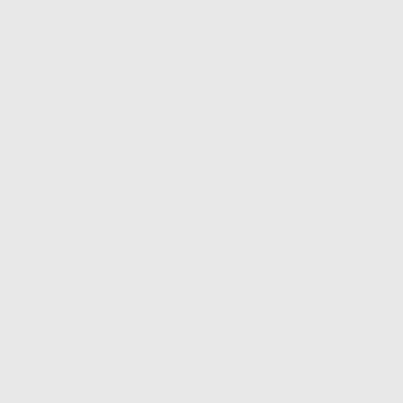these additional items. Maybe it was the he